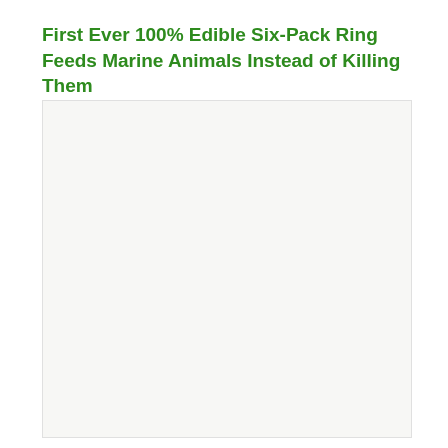First Ever 100% Edible Six-Pack Ring Feeds Marine Animals Instead of Killing Them
[Figure (photo): Large light-colored image placeholder area below the title, appears to be a photo with very faint or washed-out content.]